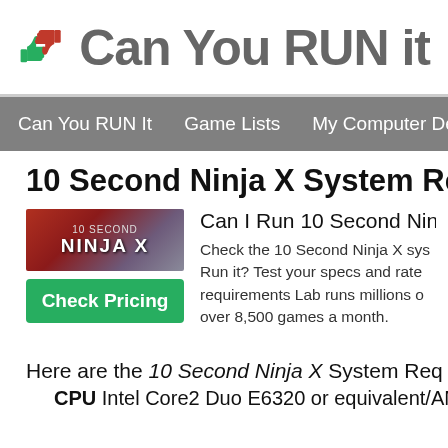[Figure (logo): Can You RUN it website logo with thumbs up (green) and thumbs down (red) icons and site title text]
Can You RUN It   Game Lists   My Computer Details
10 Second Ninja X System Re[quirements]
[Figure (screenshot): 10 Second Ninja X game cover art with red/dark background and NINJA X text]
Can I Run 10 Second Ninja [X]
Check the 10 Second Ninja X sys[tem requirements. Can You] Run it? Test your specs and rate [your PC. The System] requirements Lab runs millions o[f PC requirements tests on] over 8,500 games a month.
Here are the 10 Second Ninja X System Req[uirements]
CPU: Intel Core2 Duo E6320 or equivalent/AMD